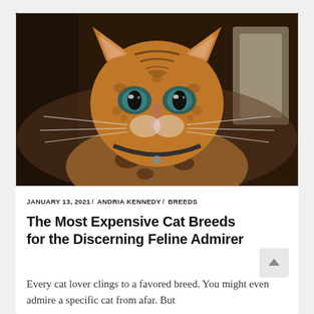[Figure (photo): Close-up photograph of a Bengal cat with striking green eyes, spotted coat pattern, long whiskers, and a collar, looking directly at camera against a blurred indoor background]
JANUARY 13, 2021 / ANDRIA KENNEDY / BREEDS
The Most Expensive Cat Breeds for the Discerning Feline Admirer
Every cat lover clings to a favored breed. You might even admire a specific cat from afar. But